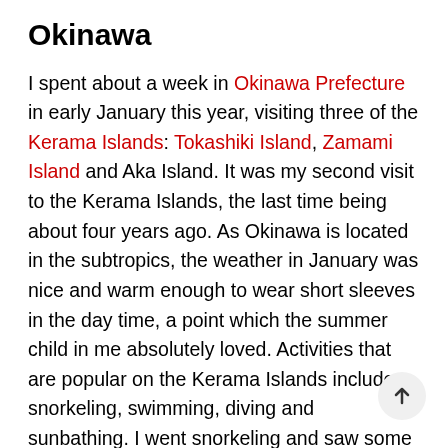Okinawa
I spent about a week in Okinawa Prefecture in early January this year, visiting three of the Kerama Islands: Tokashiki Island, Zamami Island and Aka Island. It was my second visit to the Kerama Islands, the last time being about four years ago. As Okinawa is located in the subtropics, the weather in January was nice and warm enough to wear short sleeves in the day time, a point which the summer child in me absolutely loved. Activities that are popular on the Kerama Islands include snorkeling, swimming, diving and sunbathing. I went snorkeling and saw some green turtles munching on sea grass up close, as well as a host of other marine fish. On this trip, I had some boat cancellations due to strong winds and high waves, which made it quite memor— However, it all ended well, and my advice to those planning to go is to give yourself at least a buffer day or